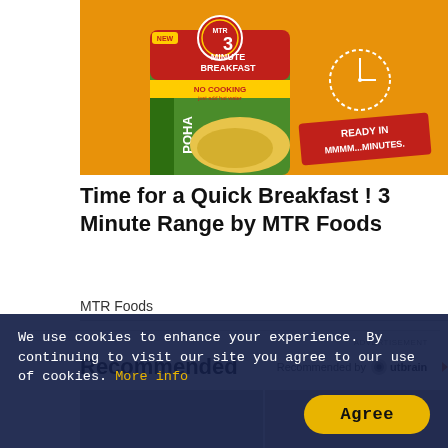[Figure (photo): MTR 3 Minute Breakfast Poha product packaging on orange background with text 'NO COOKING just add hot water' and 'READY IN MMMM...MINUTES.']
Time for a Quick Breakfast ! 3 Minute Range by MTR Foods
MTR Foods
ADVERTISEMENT
Recommended
Recommended by Outbrain
[Figure (photo): Two thumbnail images for recommended content articles]
We use cookies to enhance your experience. By continuing to visit our site you agree to our use of cookies. More info